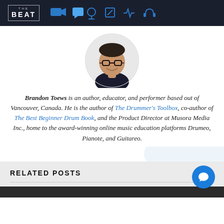THE BEAT — navigation bar with icons
[Figure (photo): Circular portrait photo of Brandon Toews, a man with dark hair, glasses, and a smile, wearing a dark shirt]
Brandon Toews is an author, educator, and performer based out of Vancouver, Canada. He is the author of The Drummer's Toolbox, co-author of The Best Beginner Drum Book, and the Product Director at Musora Media Inc., home to the award-winning online music education platforms Drumeo, Pianote, and Guitareo.
RELATED POSTS